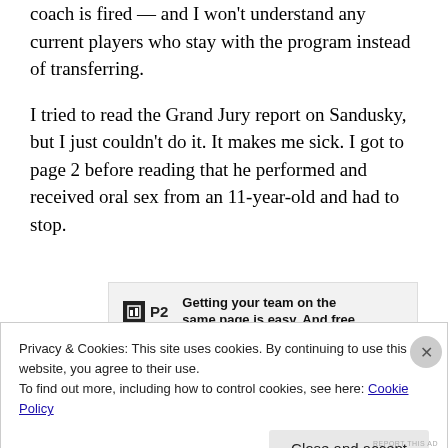coach is fired — and I won't understand any current players who stay with the program instead of transferring.
I tried to read the Grand Jury report on Sandusky, but I just couldn't do it. It makes me sick. I got to page 2 before reading that he performed and received oral sex from an 11-year-old and had to stop.
[Figure (other): Advertisement banner for P2 — Getting your team on the same page is easy. And free.]
Penn State finally hired a PR firm that specializes in...
Privacy & Cookies: This site uses cookies. By continuing to use this website, you agree to their use.
To find out more, including how to control cookies, see here: Cookie Policy